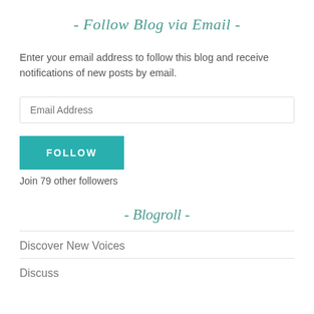- Follow Blog via Email -
Enter your email address to follow this blog and receive notifications of new posts by email.
Email Address
FOLLOW
Join 79 other followers
- Blogroll -
Discover New Voices
Discuss